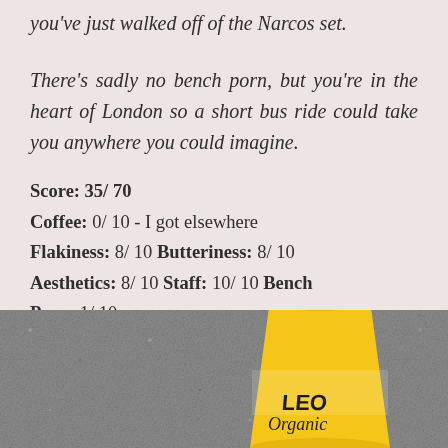you've just walked off of the Narcos set.

There's sadly no bench porn, but you're in the heart of London so a short bus ride could take you anywhere you could imagine.
Score: 35/ 70
Coffee: 0/ 10 - I got elsewhere
Flakiness: 8/ 10 Butteriness: 8/ 10
Aesthetics: 8/ 10 Staff: 10/ 10 Bench Porn: 1/ 10
[Figure (photo): A yellow Leon takeaway coffee cup with 'Leon Organic' branding sitting on a grey granite surface]